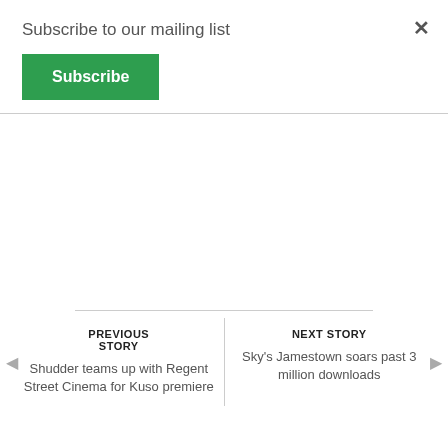Subscribe to our mailing list
Subscribe
×
PREVIOUS STORY
Shudder teams up with Regent Street Cinema for Kuso premiere
NEXT STORY
Sky's Jamestown soars past 3 million downloads